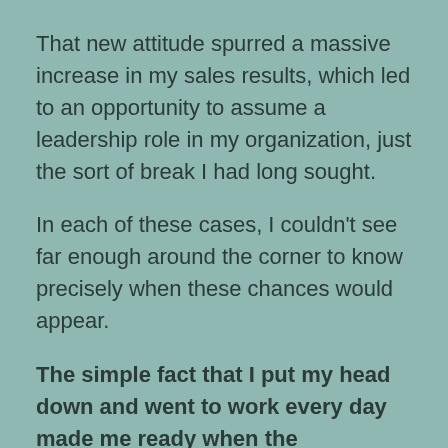That new attitude spurred a massive increase in my sales results, which led to an opportunity to assume a leadership role in my organization, just the sort of break I had long sought.
In each of these cases, I couldn't see far enough around the corner to know precisely when these chances would appear.
The simple fact that I put my head down and went to work every day made me ready when the opportunities I was looking for came knocking.